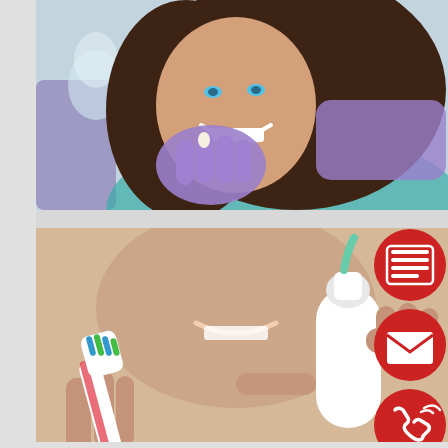[Figure (photo): A smiling woman in a dental chair being examined by a dentist wearing purple gloves, holding a dental instrument near her mouth. The chair is purple/violet colored.]
[Figure (photo): A smiling woman applying toothpaste from a white tube onto a red and white toothbrush. The image is slightly blurred in the background. On the right side are four red circular icon buttons: a form/list icon, an envelope/email icon, a phone/call icon, and a map pin/location icon.]